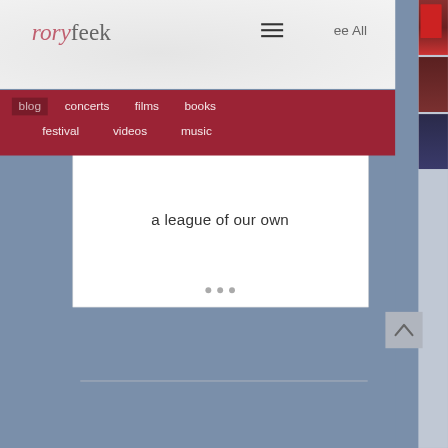roryfeek
blog  concerts  films  books  festival  videos  music
[Figure (screenshot): Photo strip showing people playing in a field, partial view]
a league of our own
[Figure (other): Three navigation dots for a carousel]
[Figure (other): Back to top arrow button in grey]